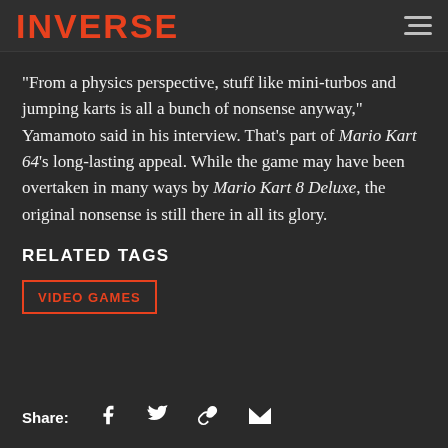INVERSE
“From a physics perspective, stuff like mini-turbos and jumping karts is all a bunch of nonsense anyway,” Yamamoto said in his interview. That’s part of Mario Kart 64’s long-lasting appeal. While the game may have been overtaken in many ways by Mario Kart 8 Deluxe, the original nonsense is still there in all its glory.
RELATED TAGS
VIDEO GAMES
Share: